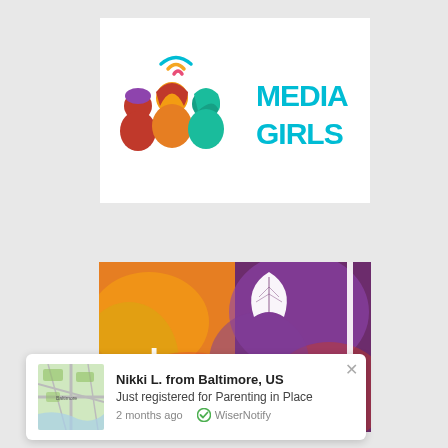[Figure (logo): Media Girls logo: three illustrated girls silhouettes in pink, orange, teal with wifi arc above, next to teal text reading MEDIA GIRLS]
[Figure (logo): CHYP logo on colorful orange/purple painted background with white leaf icon and white text 'chyp' and tagline 'creative healing for youth in pain']
[Figure (screenshot): WiserNotify popup notification: map thumbnail of Baltimore, bold text 'Nikki L. from Baltimore, US', 'Just registered for Parenting in Place', '2 months ago', green checkmark, 'WiserNotify']